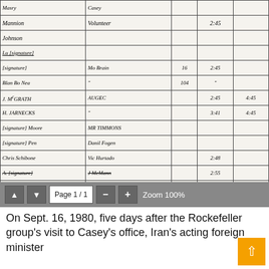| Name | Organization | Num | Time1 | Time2 |
| --- | --- | --- | --- | --- |
| Masry | Casey |  |  |  |
| Mannion | Volunteer |  | 2:45 |  |
| Johnson |  |  |  |  |
| Lu [signature] |  |  |  |  |
| [signature] | Mo Brain | 16 | 2:45 |  |
| Blan Bo Nea |  | 104 |  |  |
| J. McGRATH | AUGEC |  | 2:45 | 4:45 |
| H. JARNECKS | " |  | 3:41 | 4:45 |
| [signature] Moore | MR TIMMONS |  |  |  |
| [signature] Pen | Danil Fogen |  |  |  |
| Chris Schibone | Vic Hurtado |  | 2:48 |  |
| A. [signature] | J McMann |  | 2:55 |  |
| KREIDERER | 3CD |  | 3:05 | 3:10 |
| Joann Triest | UCI | 90 | 3:10 |  |
| [signature] Baba | Advance |  | 3:15 |  |
| V. [signature] | Chr [signature] |  | 3:10 | 3:20 |
| [signature] | Phil O'Casey |  | 3.12 |  |
| [signature] Roberts | Lornight |  | 2.1 | 2:31 |
[Figure (screenshot): PDF viewer toolbar showing navigation arrows, Page 1/1, zoom minus and plus buttons, Zoom 100%]
On Sept. 16, 1980, five days after the Rockefeller group's visit to Casey's office, Iran's acting foreign minister